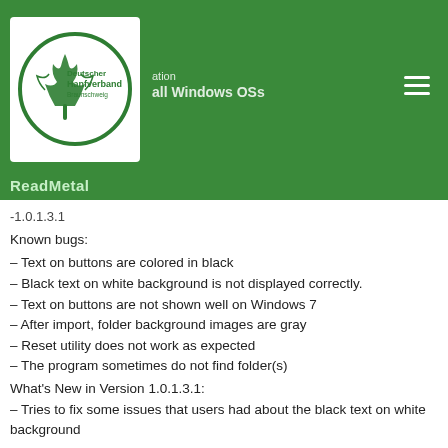[Figure (logo): Deutscher Hanfverband Braunschweig logo: circular green border with a stylized cannabis leaf and text inside a white rectangle background]
ation
all Windows OSs
ReadMetal
-1.0.1.3.1
Known bugs:
– Text on buttons are colored in black
– Black text on white background is not displayed correctly.
– Text on buttons are not shown well on Windows 7
– After import, folder background images are gray
– Reset utility does not work as expected
– The program sometimes do not find folder(s)
What's New in Version 1.0.1.3.1:
– Tries to fix some issues that users had about the black text on white background